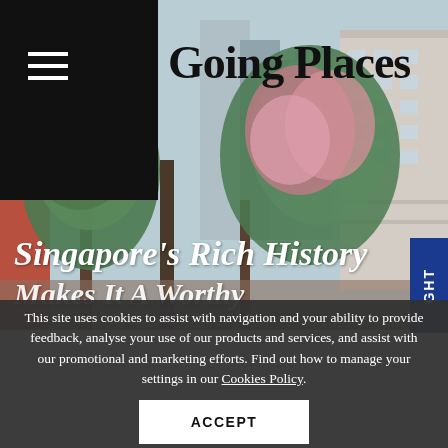Going Places
[Figure (photo): Street scene in Singapore showing flowering trees in foreground with colonial shophouses and modern skyscrapers in background]
Singapore's Rich History Makes It A Worthy
This site uses cookies to assist with navigation and your ability to provide feedback, analyse your use of our products and services, and assist with our promotional and marketing efforts. Find out how to manage your settings in our Cookies Policy.
ACCEPT